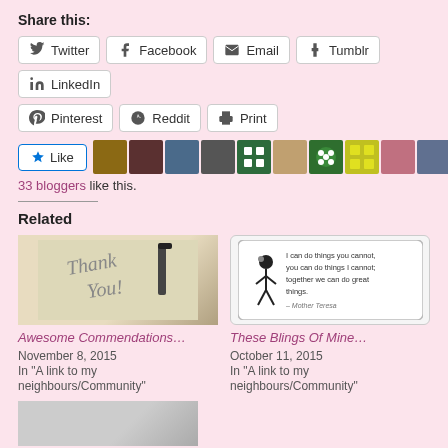Share this:
Twitter | Facebook | Email | Tumblr | LinkedIn
Pinterest | Reddit | Print
33 bloggers like this.
Related
Awesome Commendations…
November 8, 2015
In "A link to my neighbours/Community"
These Blings Of Mine…
October 11, 2015
In "A link to my neighbours/Community"